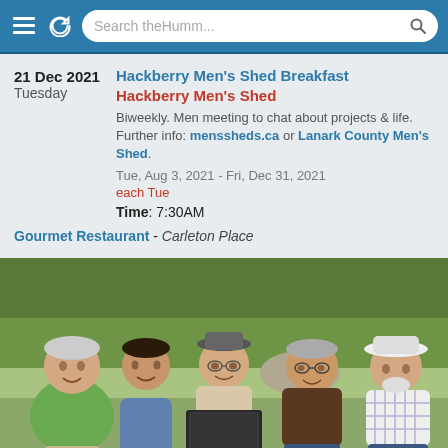[Figure (screenshot): Browser address/navigation bar with hamburger menu icon, refresh icon, and search bar reading 'Search theHumm...']
21 Dec 2021
Tuesday
Hackberry Men's Shed Breakfast
Hackberry Men's Shed
Biweekly. Men meeting to chat about projects & life. Further info: menssheds.ca or Lanark County Men's Shed.
Tue, Aug 3, 2021 - Fri, Dec 31, 2021
each Tue
Time: 7:30AM
Gourmet Restaurant - Carleton Place
[Figure (photo): Outdoor group photo of five men standing together in a field. From left: older man in green t-shirt, younger man in blue shirt, middle-aged man in hat holding a dark board, older man in brown shirt with glasses, older man in white plaid shirt and white hat. Trees visible in background.]